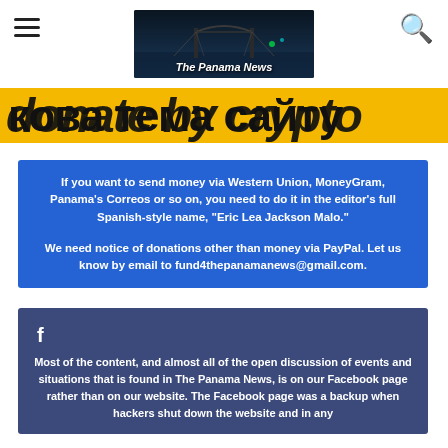The Panama News
[Figure (illustration): Yellow banner strip with partial bold dark text visible, clipped at top]
If you want to send money via Western Union, MoneyGram, Panama's Correos or so on, you need to do it in the editor's full Spanish-style name, "Eric Lea Jackson Malo."

We need notice of donations other than money via PayPal. Let us know by email to fund4thepanamanews@gmail.com.
Most of the content, and almost all of the open discussion of events and situations that is found in The Panama News, is on our Facebook page rather than on our website. The Facebook page was a backup when hackers shut down the website and in any